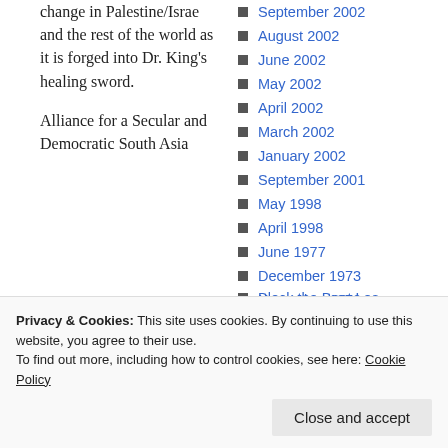change in Palestine/Israel and the rest of the world as it is forged into Dr. King's healing sword.
Alliance for a Secular and Democratic South Asia
September 2002
August 2002
June 2002
May 2002
April 2002
March 2002
January 2002
September 2001
May 1998
April 1998
June 1977
December 1973
November 1970
Privacy & Cookies: This site uses cookies. By continuing to use this website, you agree to their use. To find out more, including how to control cookies, see here: Cookie Policy
Close and accept
Cambridge
Block the Boat Los